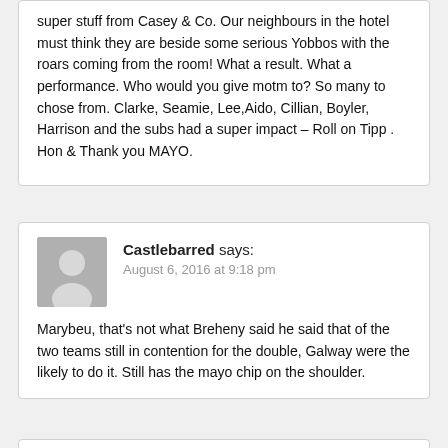super stuff from Casey & Co. Our neighbours in the hotel must think they are beside some serious Yobbos with the roars coming from the room! What a result. What a performance. Who would you give motm to? So many to chose from. Clarke, Seamie, Lee,Aido, Cillian, Boyler, Harrison and the subs had a super impact – Roll on Tipp . Hon & Thank you MAYO.
Castlebarred says: August 6, 2016 at 9:18 pm
Marybeu, that's not what Breheny said he said that of the two teams still in contention for the double, Galway were the likely to do it. Still has the mayo chip on the shoulder.
JJ says: August 6, 2016 at 10:55 pm